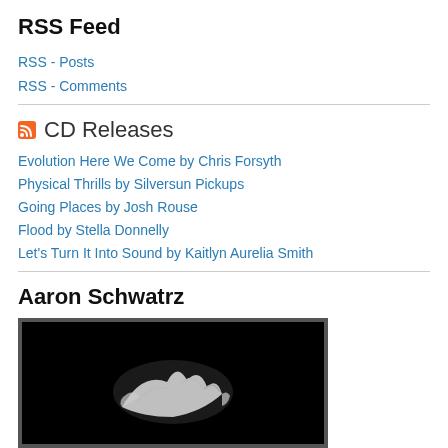RSS Feed
RSS - Posts
RSS - Comments
CD Releases
Evolution Here We Come by Chris Forsyth
Physical Thrills by Silversun Pickups
Going Places by Josh Rouse
Flood by Stella Donnelly
Let's Turn It Into Sound by Kaitlyn Aurelia Smith
Aaron Schwatrz
[Figure (photo): Black and white photo showing hands in dramatic lighting against a dark background]